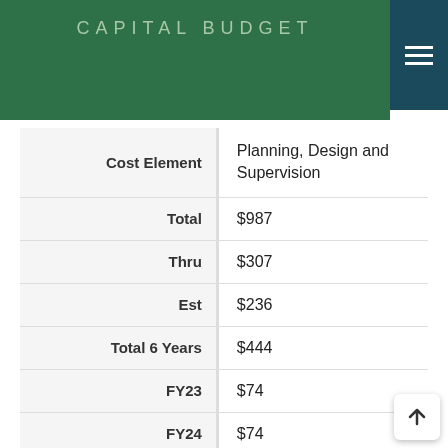CAPITAL BUDGET
| Cost Element | Planning, Design and Supervision |
| --- | --- |
| Total | $987 |
| Thru | $307 |
| Est | $236 |
| Total 6 Years | $444 |
| FY23 | $74 |
| FY24 | $74 |
| FY25 | $74 |